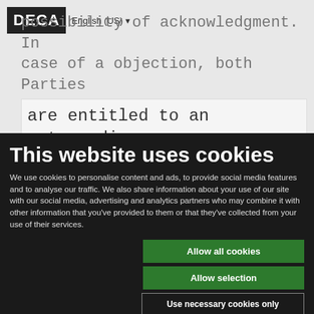[Figure (screenshot): DECA website logo with English (US) language selector in top left]
possibility of acknowledgment. In case of a objection, both Parties are entitled to an extraordinary right to terminate the Agreement in accordance with the termination provisions specified in
This website uses cookies
We use cookies to personalise content and ads, to provide social media features and to analyse our traffic. We also share information about your use of our site with our social media, advertising and analytics partners who may combine it with other information that you've provided to them or that they've collected from your use of their services.
Allow all cookies
Allow selection
Use necessary cookies only
Necessary  Preferences  Statistics  Marketing  Show details